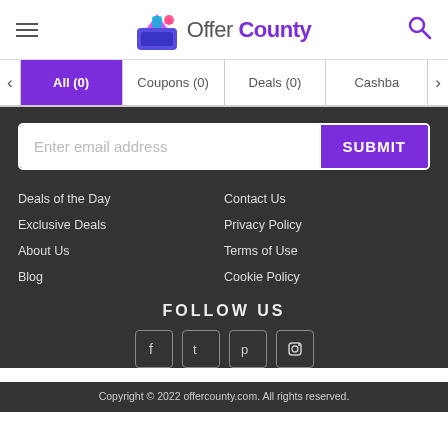Offer County
All (0)
Coupons (0)
Deals (0)
Cashback
Enter email address
SUBMIT
Deals of the Day
Contact Us
Exclusive Deals
Privacy Policy
About Us
Terms of Use
Blog
Cookie Policy
FOLLOW US
Copyright © 2022 offercounty.com. All rights reserved.